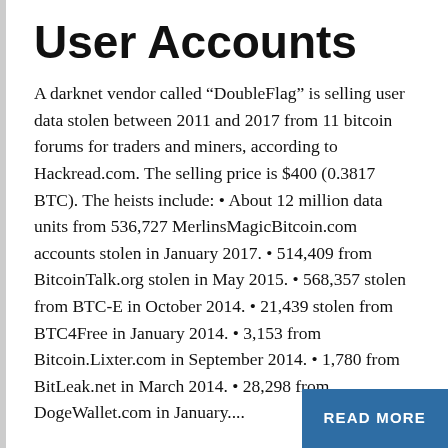User Accounts
A darknet vendor called “DoubleFlag” is selling user data stolen between 2011 and 2017 from 11 bitcoin forums for traders and miners, according to Hackread.com. The selling price is $400 (0.3817 BTC). The heists include: • About 12 million data units from 536,727 MerlinsMagicBitcoin.com accounts stolen in January 2017. • 514,409 from BitcoinTalk.org stolen in May 2015. • 568,357 stolen from BTC-E in October 2014. • 21,439 stolen from BTC4Free in January 2014. • 3,153 from Bitcoin.Lixter.com in September 2014. • 1,780 from BitLeak.net in March 2014. • 28,298 from DogeWallet.com in January....
READ MORE